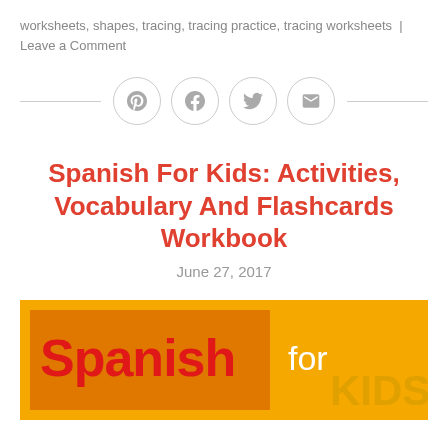worksheets, shapes, tracing, tracing practice, tracing worksheets | Leave a Comment
[Figure (infographic): Four social sharing icon buttons (Pinterest, Facebook, Twitter, Email) in circular outlines with a horizontal divider line on each side]
Spanish For Kids: Activities, Vocabulary And Flashcards Workbook
June 27, 2017
[Figure (illustration): Orange background book cover image with text 'Spanish' in red bold on a darker orange rectangle, and 'for KIDS' in orange/white text on the right side]